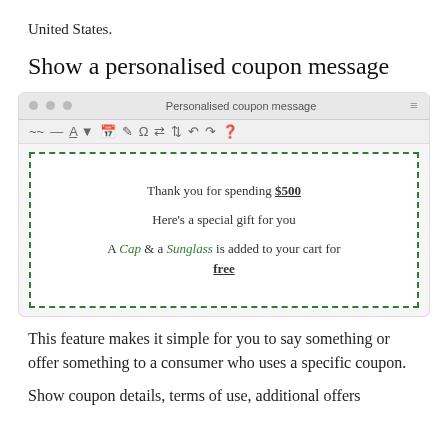United States.
Show a personalised coupon message
[Figure (screenshot): Screenshot of a text editor interface showing 'Personalised coupon message' in the title bar, a toolbar with formatting icons, and an editor area with dashed green border containing the text: 'Thank you for spending $500', 'Here's a special gift for you', 'A Cap & a Sunglass is added to your cart for free']
This feature makes it simple for you to say something or offer something to a consumer who uses a specific coupon.
Show coupon details, terms of use, additional offers